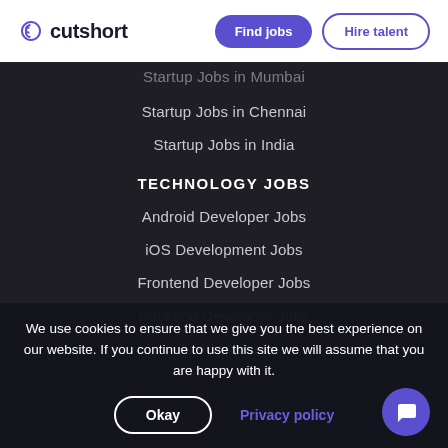cutshort | Find jobs | Hire talent
Startup Jobs in Mumbai
Startup Jobs in Chennai
Startup Jobs in India
TECHNOLOGY JOBS
Android Developer Jobs
iOS Development Jobs
Frontend Developer Jobs
Backend Developer Jobs
DevOps Jobs
We use cookies to ensure that we give you the best experience on our website. If you continue to use this site we will assume that you are happy with it.
Okay | Privacy policy